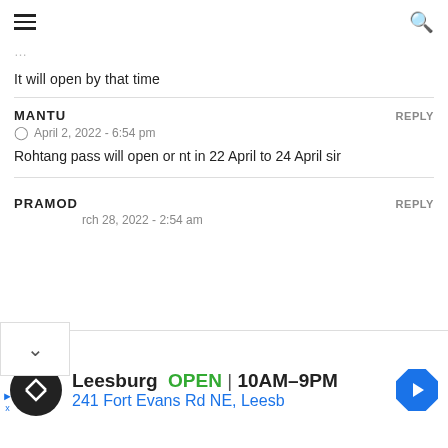≡   🔍
It will open by that time
MANTU
April 2, 2022 - 6:54 pm
Rohtang pass will open or nt in 22 April to 24 April sir
PRAMOD
rch 28, 2022 - 2:54 am
[Figure (screenshot): Advertisement bar: Leesburg OPEN 10AM-9PM, 241 Fort Evans Rd NE, Leesb]